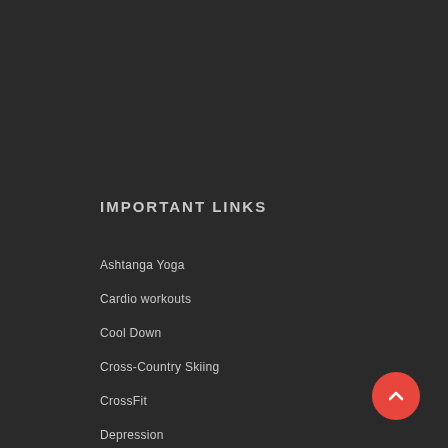IMPORTANT LINKS
Ashtanga Yoga
Cardio workouts
Cool Down
Cross-Country Skiing
CrossFit
Depression
Diet Fads
Emotional
Emotional...